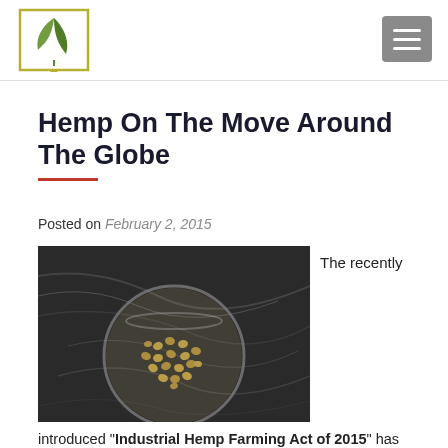[Figure (logo): Green leaf logo in a square border with a teardrop below]
[Figure (screenshot): Grey hamburger menu button with three white horizontal lines]
Hemp On The Move Around The Globe
Posted on February 2, 2015
[Figure (photo): Overhead photo of hemp seeds in a glass jar on a dark marble surface]
The recently
introduced "Industrial Hemp Farming Act of 2015" has found support on both sides of the political aisle in the United States. This Act would effectively remove federal